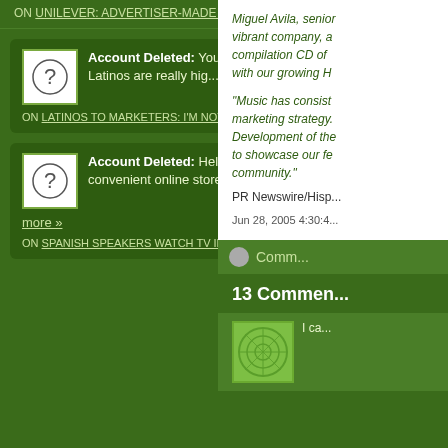ON UNILEVER: ADVERTISER-MADE CONTENT FOR LATINOS
Account Deleted: You are right with taht: Latinos are really hig... more »
ON LATINOS TO MARKETERS: I'M NOT "FEELING" YOU
Account Deleted: Hello, The fast and convenient online store of... more »
ON SPANISH SPEAKERS WATCH TV IN ENGLISH TOO!
Miguel Avila, senior... vibrant company, a... compilation CD of... with our growing H...
"Music has consist... marketing strategy... Development of the... to showcase our fe... community."
PR Newswire/Hisp...
Jun 28, 2005 4:30:4...
Comm...
13 Commen...
I ca...